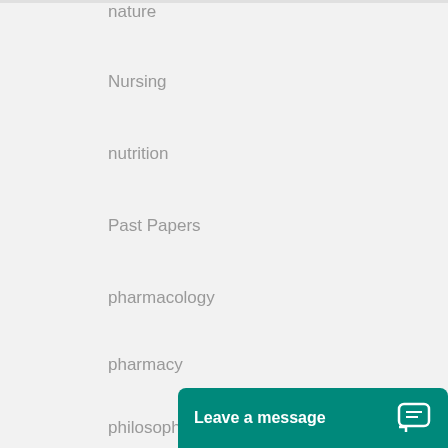nature
Nursing
nutrition
Past Papers
pharmacology
pharmacy
philosophy
Physics
Physics / Electromagnetism
Physics / Geophysics
Physics / Op...
political scie...
[Figure (other): Live chat widget with 'Leave a message' button and chat icon on teal background]